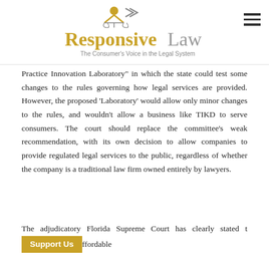Responsive Law – The Consumer's Voice in the Legal System
Practice Innovation Laboratory" in which the state could test some changes to the rules governing how legal services are provided. However, the proposed 'Laboratory' would allow only minor changes to the rules, and wouldn't allow a business like TIKD to serve consumers. The court should replace the committee's weak recommendation, with its own decision to allow companies to provide regulated legal services to the public, regardless of whether the company is a traditional law firm owned entirely by lawyers.
The adjudicatory Florida Supreme Court has clearly stated t[hat it wants] affordable